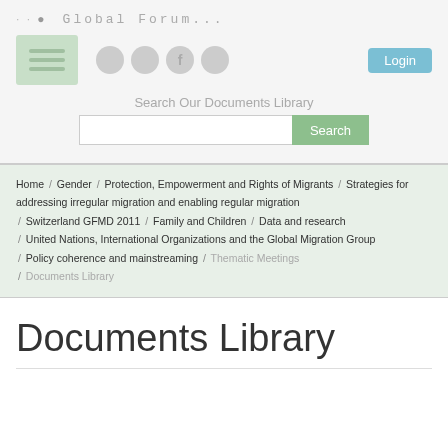Global Forum on Migration and Development
[Figure (screenshot): Website header with logo, navigation icons, login button, search bar]
Home / Gender / Protection, Empowerment and Rights of Migrants / Strategies for addressing irregular migration and enabling regular migration / Switzerland GFMD 2011 / Family and Children / Data and research / United Nations, International Organizations and the Global Migration Group / Policy coherence and mainstreaming / Thematic Meetings / Documents Library
Documents Library